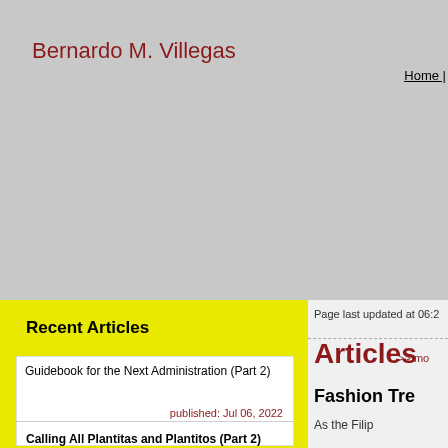Bernardo M. Villegas
Home
[Figure (other): Gray banner/header area with no image content]
Recent Articles
Guidebook for the Next Administration (Part 2)
published: Jul 06, 2022
Calling All Plantitas and Plantitos (Part 2)
Page last updated at 06:2
Articles >> mo
Fashion Tre
As the Filip